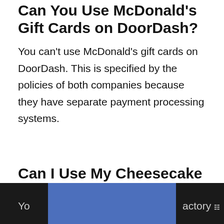Can You Use McDonald's Gift Cards on DoorDash?
You can't use McDonald's gift cards on DoorDash. This is specified by the policies of both companies because they have separate payment processing systems.
Can I Use My Cheesecake Factory Gift Card on DoorDash?
Yo... a...actory